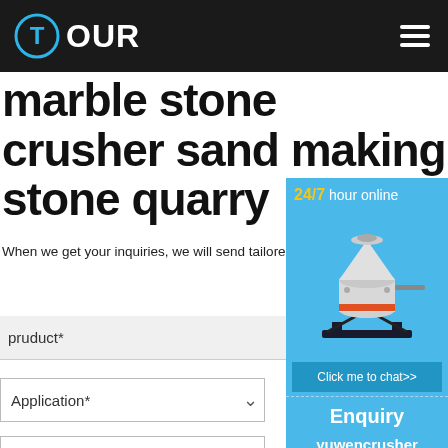TOUR
marble stone crusher sand making stone quarry
INQUIRY
When we get your inquiries, we will send tailored delivery, payment terms and other required detail 24 hours.
pruduct*
Application*
Capacity*
[Figure (photo): Industrial cone crusher machine, white and orange colored, displayed in the side panel widget]
24/7 hour online
Click me to chat>>
Enquiry
yuwencrusher